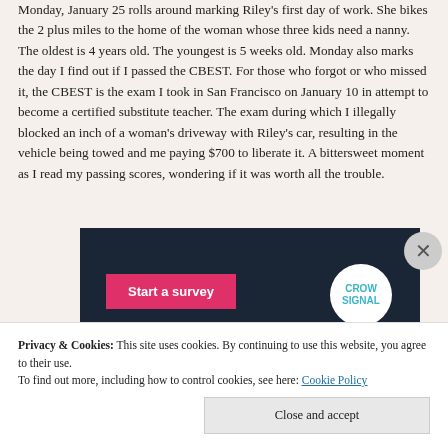Monday, January 25 rolls around marking Riley's first day of work. She bikes the 2 plus miles to the home of the woman whose three kids need a nanny. The oldest is 4 years old. The youngest is 5 weeks old. Monday also marks the day I find out if I passed the CBEST. For those who forgot or who missed it, the CBEST is the exam I took in San Francisco on January 10 in attempt to become a certified substitute teacher. The exam during which I illegally blocked an inch of a woman's driveway with Riley's car, resulting in the vehicle being towed and me paying $700 to liberate it. A bittersweet moment as I read my passing scores, wondering if it was worth all the trouble.
[Figure (screenshot): Dark navy advertisement panel with a pink 'Start a survey' button on the left and a circular white logo with 'CROW SIGNAL' text on the right]
Privacy & Cookies: This site uses cookies. By continuing to use this website, you agree to their use.
To find out more, including how to control cookies, see here: Cookie Policy
Close and accept